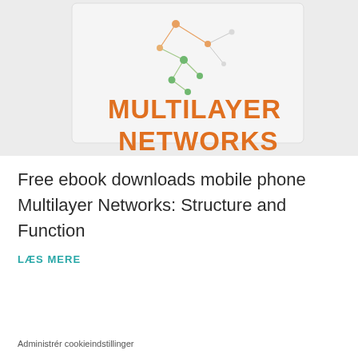[Figure (illustration): Book cover showing 'MULTILAYER NETWORKS' title in orange letters on a light grey background with a network graph diagram illustration at the top]
Free ebook downloads mobile phone Multilayer Networks: Structure and Function
LÆS MERE
Administrér cookieindstillinger